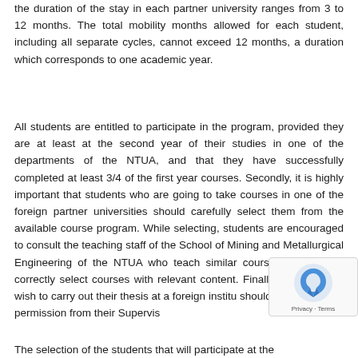the duration of the stay in each partner university ranges from 3 to 12 months. The total mobility months allowed for each student, including all separate cycles, cannot exceed 12 months, a duration which corresponds to one academic year.
All students are entitled to participate in the program, provided they are at least at the second year of their studies in one of the departments of the NTUA, and that they have successfully completed at least 3/4 of the first year courses. Secondly, it is highly important that students who are going to take courses in one of the foreign partner universities should carefully select them from the available course program. While selecting, students are encouraged to consult the teaching staff of the School of Mining and Metallurgical Engineering of the NTUA who teach similar courses, in order to correctly select courses with relevant content. Finally, students that wish to carry out their thesis at a foreign institu should claim a written permission from their Supervis
The selection of the students that will participate at the